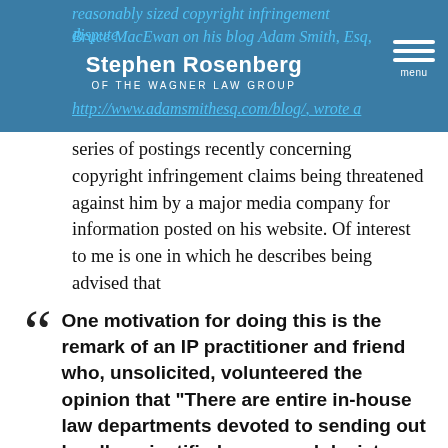Stephen Rosenberg OF THE WAGNER LAW GROUP
reasonably sized copyright infringement dispute. Bruce MacEwan on his blog Adam Smith, Esq, http://www.adamsmithesq.com/blog/, wrote a series of postings recently concerning copyright infringement claims being threatened against him by a major media company for information posted on his website. Of interest to me is one in which he describes being advised that
One motivation for doing this is the remark of an IP practitioner and friend who, unsolicited, volunteered the opinion that “There are entire in-house law departments devoted to sending out legally unjustified cease and desist letters.” And the truly bad news is not that dismaying commentary on the paucity of ethics, but his additional